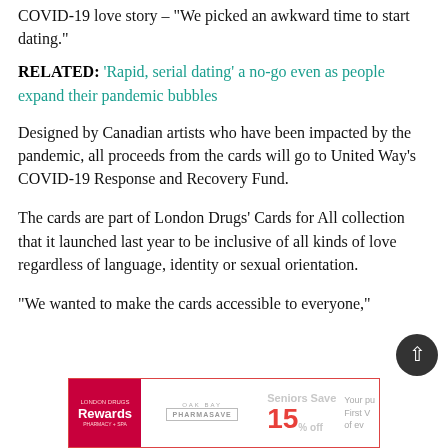COVID-19 love story – "We picked an awkward time to start dating."
RELATED: 'Rapid, serial dating' a no-go even as people expand their pandemic bubbles
Designed by Canadian artists who have been impacted by the pandemic, all proceeds from the cards will go to United Way's COVID-19 Response and Recovery Fund.
The cards are part of London Drugs' Cards for All collection that it launched last year to be inclusive of all kinds of love regardless of language, identity or sexual orientation.
"We wanted to make the cards accessible to everyone,"
[Figure (screenshot): Advertisement banner for Oak Bay Pharmasave featuring Rewards card, 'Seniors Save 15% off' text, and partial text about purchases.]